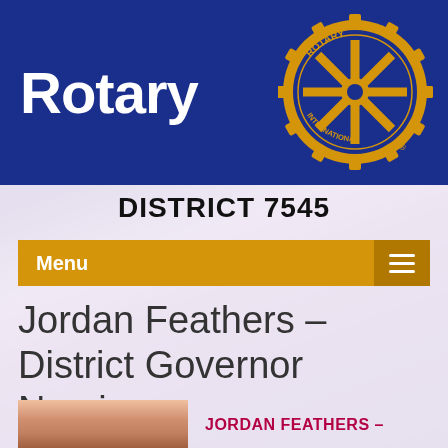[Figure (logo): Rotary International logo with gear wheel in gold/yellow on blue background, with text ROTARY in white]
DISTRICT 7545
Menu
Jordan Feathers – District Governor Nominee
[Figure (photo): Partial photo of Jordan Feathers]
JORDAN FEATHERS –